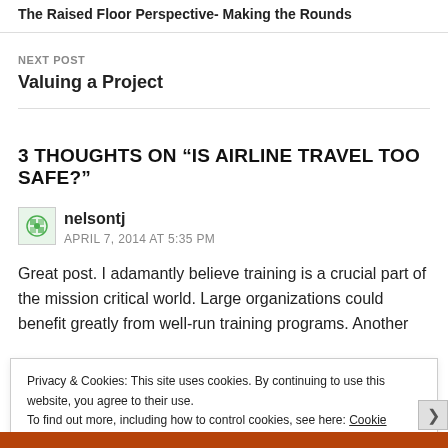The Raised Floor Perspective- Making the Rounds
NEXT POST
Valuing a Project
3 THOUGHTS ON “IS AIRLINE TRAVEL TOO SAFE?”
nelsontj
APRIL 7, 2014 AT 5:35 PM
Great post. I adamantly believe training is a crucial part of the mission critical world. Large organizations could benefit greatly from well-run training programs. Another
Privacy & Cookies: This site uses cookies. By continuing to use this website, you agree to their use.
To find out more, including how to control cookies, see here: Cookie Policy
Close and accept